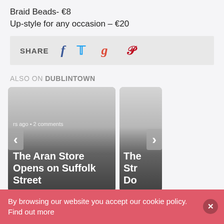Braid Beads- €8
Up-style for any occasion – €20
[Figure (other): Share bar with social media icons: Facebook, Twitter, Google+, Pinterest]
ALSO ON DUBLINTOWN
[Figure (other): Article cards carousel showing 'The Aran Store Opens on Suffolk Street' and partial second card, with prev/next navigation arrows]
By browsing our website you accept our cookie policy. Find out more